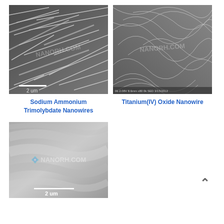[Figure (photo): SEM image of Sodium Ammonium Trimolybdate Nanowires, showing elongated needle-like structures, scale bar 2 um, watermark NANORH.COM]
Sodium Ammonium Trimolybdate Nanowires
[Figure (photo): SEM image of Titanium(IV) Oxide Nanowire, showing tangled fibrous wire-like structures, with microscope metadata visible at bottom, watermark NANORH.COM]
Titanium(IV) Oxide Nanowire
[Figure (photo): SEM image showing layered or striated surface, scale bar 2 um, watermark NANORH.COM]
^